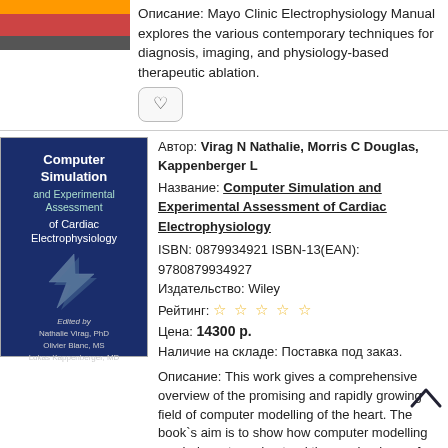[Figure (illustration): Book cover thumbnail with orange and gray gradient, partially visible at top]
Описание: Mayo Clinic Electrophysiology Manual explores the various contemporary techniques for diagnosis, imaging, and physiology-based therapeutic ablation.
[Figure (illustration): Book cover: Computer Simulation and Experimental Assessment of Cardiac Electrophysiology, dark blue cover with lightning bolt graphic, editors Nathalie Virag PhD, Olivier Blanc MS, Lukas Kappenberger MD]
Автор: Virag N Nathalie, Morris C Douglas, Kappenberger L
Название: Computer Simulation and Experimental Assessment of Cardiac Electrophysiology
ISBN: 0879934921 ISBN-13(EAN): 9780879934927
Издательство: Wiley
Рейтинг:
Цена: 14300 р.
Наличие на складе: Поставка под заказ.
Описание: This work gives a comprehensive overview of the promising and rapidly growing field of computer modelling of the heart. The book`s aim is to show how computer modelling can help us to understand the mechanisms of cardiac arrhythmia and to develop new therapeutic strategies.